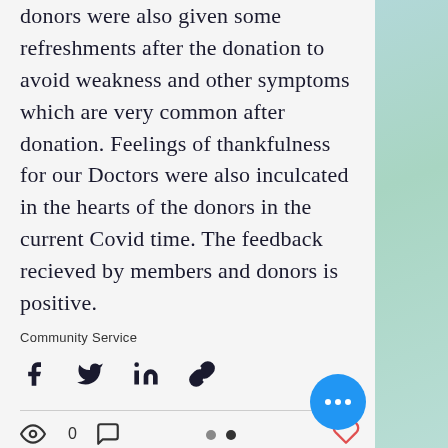donors were also given some refreshments after the donation to avoid weakness and other symptoms which are very common after donation. Feelings of thankfulness for our Doctors were also inculcated in the hearts of the donors in the current Covid time. The feedback recieved by members and donors is positive.
Community Service
[Figure (other): Social sharing icons: Facebook, Twitter, LinkedIn, and link/copy icon]
[Figure (other): Post engagement bar with view count (eye icon, 0), comment icon, and heart/like icon (red outline). Blue FAB button with three dots. Pagination dots (grey and black).]